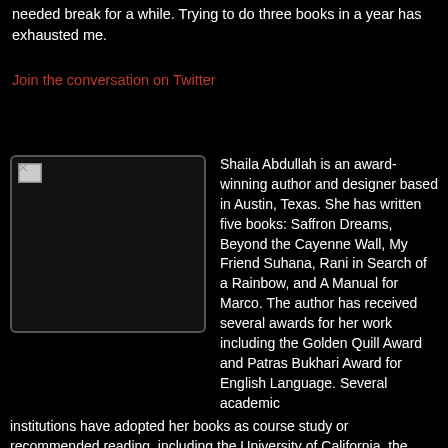needed break for a while. Trying to do three books in a year has exhausted me.
Join the conversation on Twitter
[Figure (photo): Author photo placeholder (broken image) inside a rounded rectangle box]
Shaila Abdullah is an award-winning author and designer based in Austin, Texas. She has written five books: Saffron Dreams, Beyond the Cayenne Wall, My Friend Suhana, Rani in Search of a Rainbow, and A Manual for Marco. The author has received several awards for her work including the Golden Quill Award and Patras Bukhari Award for English Language. Several academic institutions have adopted her books as course study or recommended reading, including the University of California, the University of Nebraska-Lincoln, Indiana University, Boston University, California State University,